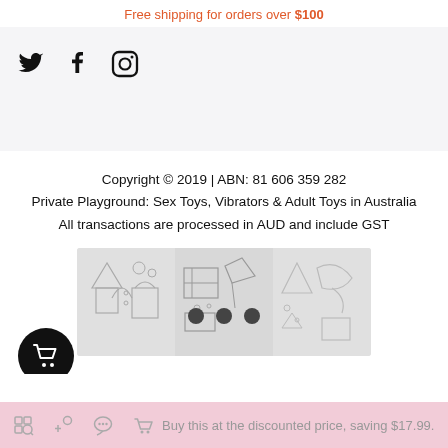Free shipping for orders over $100
[Figure (other): Social media icons: Twitter, Facebook, Instagram]
Copyright © 2019 | ABN: 81 606 359 282
Private Playground: Sex Toys, Vibrators & Adult Toys in Australia
All transactions are processed in AUD and include GST
[Figure (illustration): Sketch-style product illustration banner with geometric shapes and product outlines, with three pagination dots overlay and a circular cart icon]
Buy this at the discounted price, saving $17.99.